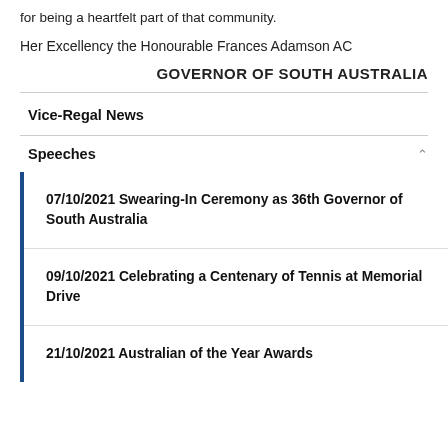for being a heartfelt part of that community.
Her Excellency the Honourable Frances Adamson AC
GOVERNOR OF SOUTH AUSTRALIA
Vice-Regal News
Speeches
07/10/2021 Swearing-In Ceremony as 36th Governor of South Australia
09/10/2021 Celebrating a Centenary of Tennis at Memorial Drive
21/10/2021 Australian of the Year Awards